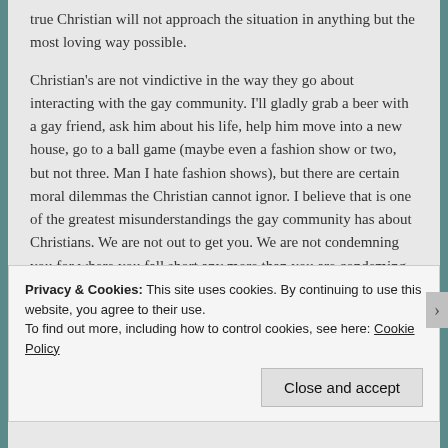true Christian will not approach the situation in anything but the most loving way possible.

Christian's are not vindictive in the way they go about interacting with the gay community. I'll gladly grab a beer with a gay friend, ask him about his life, help him move into a new house, go to a ball game (maybe even a fashion show or two, but not three. Man I hate fashion shows), but there are certain moral dilemmas the Christian cannot ignor. I believe that is one of the greatest misunderstandings the gay community has about Christians. We are not out to get you. We are not condemning you for where you fall short any more than you are condeming the billions of Christians who fall short every day.
Privacy & Cookies: This site uses cookies. By continuing to use this website, you agree to their use.
To find out more, including how to control cookies, see here: Cookie Policy